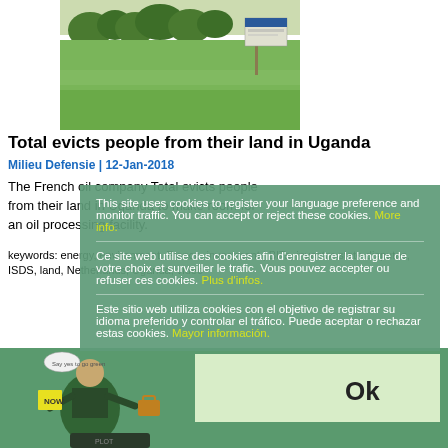[Figure (photo): Photograph of an open grassy field in Uganda with trees in background and a sign post visible on the right side]
Total evicts people from their land in Uganda
Milieu Defensie | 12-Jan-2018
The French oil company Total evicts people from their land in Uganda to make room for an oil processing facility.
keywords: energy, environment, France, investment | BITs, investor-state-disputes, ISDS, land, Netherlands, Uganda, video
This site uses cookies to register your language preference and monitor traffic. You can accept or reject these cookies. More info.
Ce site web utilise des cookies afin d'enregistrer la langue de votre choix et surveiller le trafic. Vous pouvez accepter ou refuser ces cookies. Plus d'infos.
Este sitio web utiliza cookies con el objetivo de registrar su idioma preferido y controlar el tráfico. Puede aceptar o rechazar estas cookies. Mayor información.
[Figure (illustration): Cartoon illustration of a person in a suit holding a briefcase, with OK button and pipeline imagery, on green background]